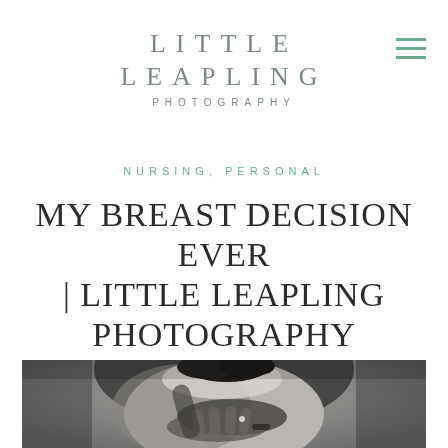LITTLE LEAPLING PHOTOGRAPHY
NURSING, PERSONAL
MY BREAST DECISION EVER | LITTLE LEAPLING PHOTOGRAPHY
[Figure (photo): Black and white artistic photograph of a woman with curly hair, her back partially exposed, hands crossed over her chest, wearing a ring and bracelet, against a grey background.]